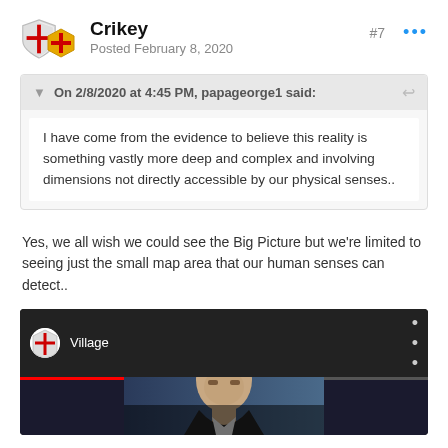Crikey
Posted February 8, 2020
#7
On 2/8/2020 at 4:45 PM, papageorge1 said:
I have come from the evidence to believe this reality is something vastly more deep and complex and involving dimensions not directly accessible by our physical senses..
Yes, we all wish we could see the Big Picture but we’re limited to seeing just the small map area that our human senses can detect..
[Figure (screenshot): Video thumbnail showing a YouTube-style video embed with a channel icon (red cross on white shield), title 'Village', three-dot menu, and a man speaking on screen with a dark background.]